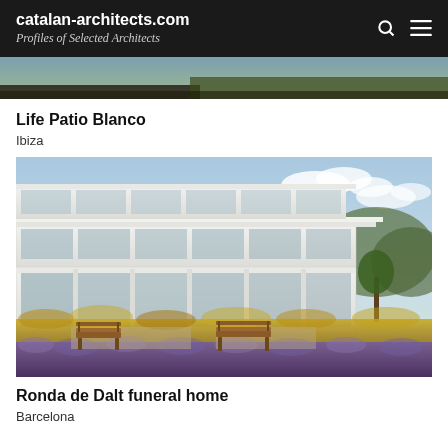catalan-architects.com
Profiles of Selected Architects
[Figure (photo): Top cropped image strip showing greenery and dark ground]
Life Patio Blanco
Ibiza
[Figure (photo): Modern white multi-storey building with glass facades, surrounded by lavender and yellow flowering plants, wooden benches in foreground, mountains and blue sky in background. Ronda de Dalt funeral home, Barcelona.]
Ronda de Dalt funeral home
Barcelona